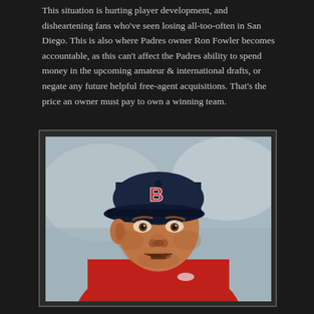This situation is hurting player development, and disheartening fans who've seen losing all-too-often in San Diego. This is also where Padres owner Ron Fowler becomes accountable, as this can't affect the Padres ability to spend money in the upcoming amateur & international drafts, or negate any future helpful free-agent acquisitions. That's the price an owner must pay to own a winning team.
[Figure (photo): Close-up photo of a baseball player or coach wearing a navy blue Boston Red Sox cap with red 'B' logo and a red jersey, mouth slightly open, looking to the side. Background is blurred gray/blue tones.]